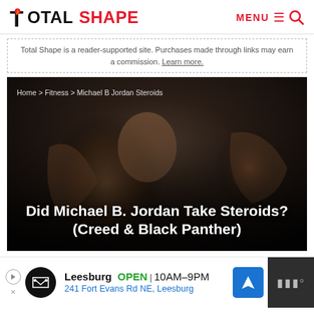TOTAL SHAPE — MENU search
Total Shape is a reader-supported site. Purchases made through links may earn a commission. Learn more.
[Figure (photo): Hero image of Michael B. Jordan shirtless in a fighting pose with dark moody background. Breadcrumb: Home > Fitness > Michael B Jordan Steroids. Title overlay: Did Michael B. Jordan Take Steroids? (Creed & Black Panther)]
Did Michael B. Jordan Take Steroids? (Creed & Black Panther)
[Figure (other): Advertisement banner for a business in Leesburg: OPEN 10AM-9PM, 241 Fort Evans Rd NE, Leesburg, with navigation icon and logo]